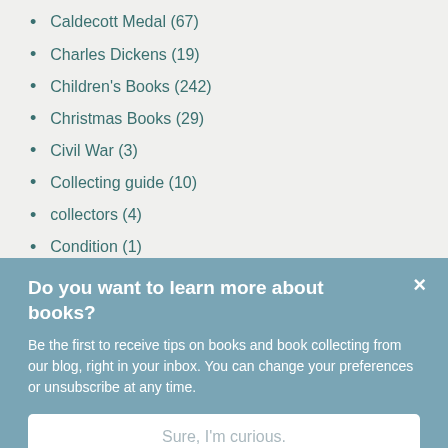Caldecott Medal (67)
Charles Dickens (19)
Children's Books (242)
Christmas Books (29)
Civil War (3)
Collecting guide (10)
collectors (4)
Condition (1)
Drama (40)
Dust Jackets (9)
Fine Press (52)
Do you want to learn more about books?
Be the first to receive tips on books and book collecting from our blog, right in your inbox. You can change your preferences or unsubscribe at any time.
Sure, I'm curious.